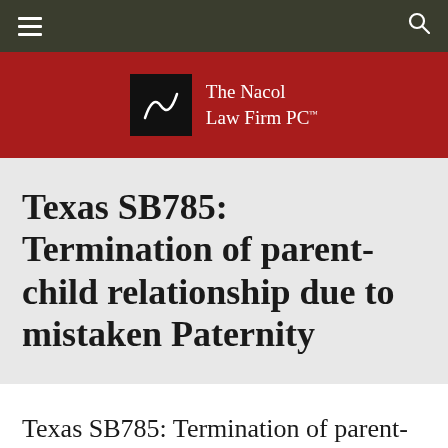Navigation bar with hamburger menu and search icon
[Figure (logo): The Nacol Law Firm PC logo — black square with stylized 'N' mark beside white text on red background]
Texas SB785: Termination of parent-child relationship due to mistaken Paternity
Texas SB785: Termination of parent-child relationship due to mistaken Paternity